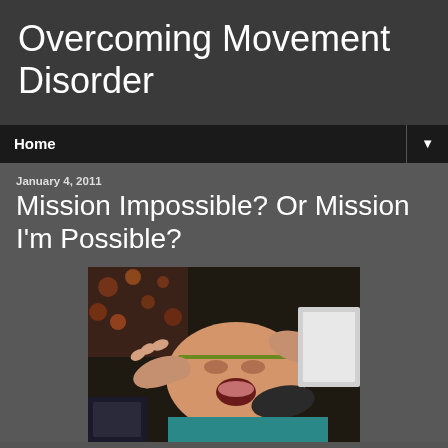Overcoming Movement Disorder
Home
January 4, 2011
Mission Impossible? Or Mission I'm Possible?
[Figure (photo): A young child lying down with multiple adult hands touching/examining the child's face and head, possibly during a medical or therapeutic procedure.]